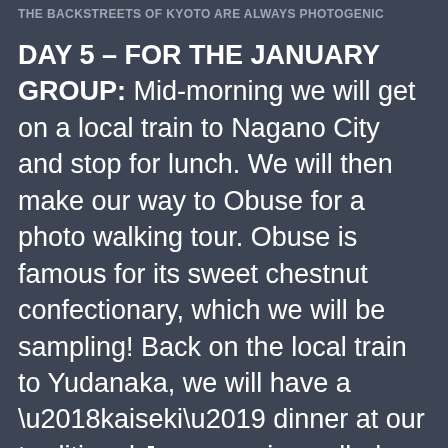THE BACKSTREETS OF KYOTO ARE ALWAYS PHOTOGENIC
DAY 5 – FOR THE JANUARY GROUP:
Mid-morning we will get on a local train to Nagano City and stop for lunch. We will then make our way to Obuse for a photo walking tour. Obuse is famous for its sweet chestnut confectionary, which we will be sampling! Back on the local train to Yudanaka, we will have a ‘kaiseki’ dinner at our traditional Japanese inn called a ryokan. This evening is reserved for hot spring soaking at many of the village’s hot springs.
FOR THE FEBRUARY GROUP: After breakfast at